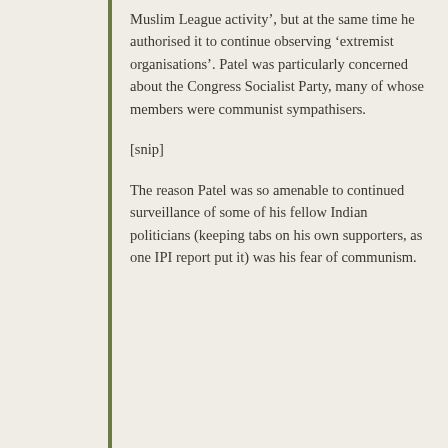Muslim League activity’, but at the same time he authorised it to continue observing ‘extremist organisations’. Patel was particularly concerned about the Congress Socialist Party, many of whose members were communist sympathisers.
[snip]
The reason Patel was so amenable to continued surveillance of some of his fellow Indian politicians (keeping tabs on his own supporters, as one IPI report put it) was his fear of communism.